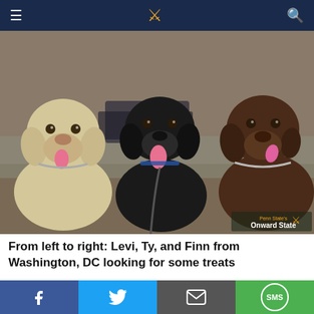Navigation bar with hamburger menu, site logo, and search icon
[Figure (photo): Three Labrador Retrievers sitting side by side outdoors: a yellow Lab on the left, a black Lab in the center on a leash, and a chocolate Lab on the right wearing a chain collar. Background shows a parking lot and trees.]
From left to right: Levi, Ty, and Finn from Washington, DC looking for some treats
[Figure (photo): Advertisement showing a woman near a doorway with text 'New Shaftless Stair Lifts takes Only Hours to Install - See How Much The...' from Stair Lifts | Sponsored]
Social sharing buttons: Facebook, Twitter, Email, SMS